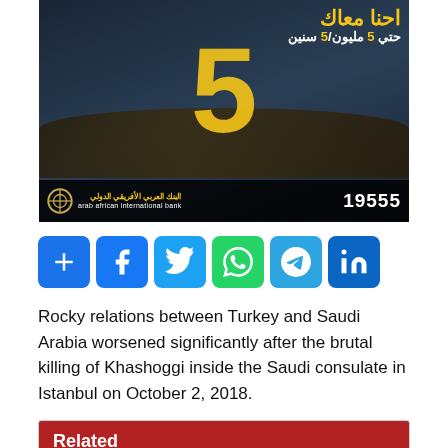[Figure (illustration): Arab African International Bank advertisement showing Arabic text 'احنا معاك' (We are with you), subtitle 'حتي 5 مليون/5 سنين' (up to 5 million/5 years), large number 5, factory/industrial background imagery, bank logo, and phone number 19555]
[Figure (infographic): Social media share buttons row: Add/Share (blue), Facebook (blue), Twitter (light blue), WhatsApp (green), Telegram (cyan), LinkedIn (dark blue)]
Rocky relations between Turkey and Saudi Arabia worsened significantly after the brutal killing of Khashoggi inside the Saudi consulate in Istanbul on October 2, 2018.
Related
Turkey to seek Egypt, Israel thaw after UAE talks